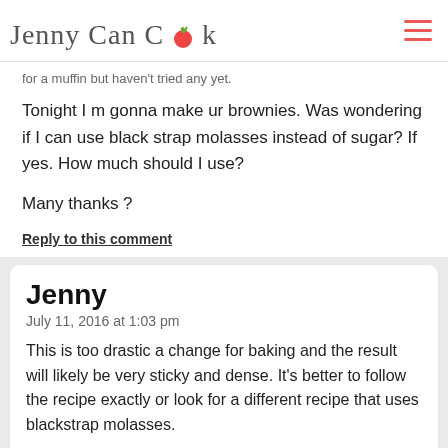Jenny Can Cook
for a muffin but haven't tried any yet.
Tonight I m gonna make ur brownies. Was wondering if I can use black strap molasses instead of sugar? If yes. How much should I use?
Many thanks ?
Reply to this comment
Jenny
July 11, 2016 at 1:03 pm
This is too drastic a change for baking and the result will likely be very sticky and dense. It's better to follow the recipe exactly or look for a different recipe that uses blackstrap molasses.
Reply to this comment